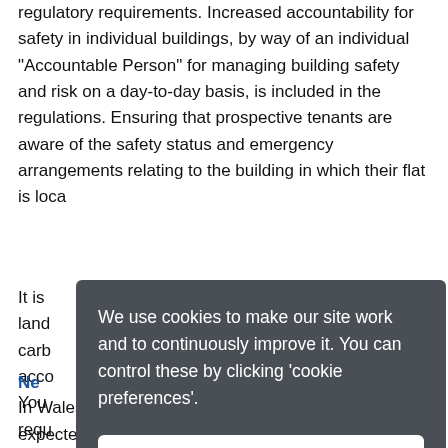regulatory requirements. Increased accountability for safety in individual buildings, by way of an individual "Accountable Person" for managing building safety and risk on a day-to-day basis, is included in the regulations. Ensuring that prospective tenants are aware of the safety status and emergency arrangements relating to the building in which their flat is located.
It is ... land... carb... acco... n. You... a requ...
Ne...
In Wales the Renting Homes (Wales) Act 2016 is expected to
[Figure (screenshot): Cookie consent modal overlay with dark grey background. Contains message: 'We use cookies to make our site work and to continuously improve it. You can control these by clicking cookie preferences.' Two buttons: 'Accept all cookies' and 'Cookie preferences'.]